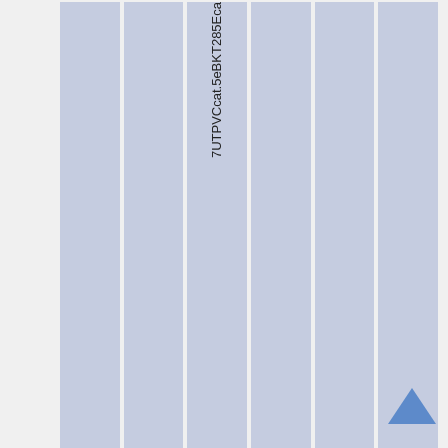| Type | Safety version | Compliance Statement | Latest Certificate | 3P Surveillance | CPR |
| --- | --- | --- | --- | --- | --- |
| 7UTPVCcat.5eBKT285Eca |  |  |  |  |  |
Cable: Category 6
| Type | Safety version | Compliance Statement | Latest Certificate | 3P Surveillance | CPR |
| --- | --- | --- | --- | --- | --- |